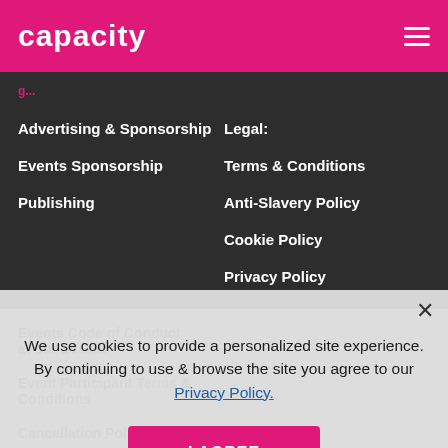capacity
Advertising & Sponsorship
Events Sponsorship
Publishing
Legal:
Terms & Conditions
Anti-Slavery Policy
Cookie Policy
Privacy Policy
Events Code of Conduct at our Events
Event Participant Terms & Conditions
Cancellation Policy
We use cookies to provide a personalized site experience. By continuing to use & browse the site you agree to our Privacy Policy.